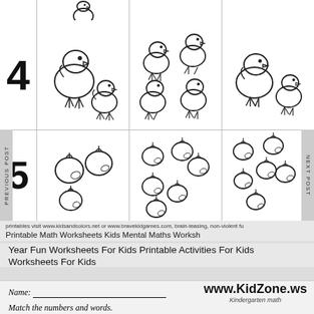[Figure (illustration): Worksheet grid showing number 4 with chick illustrations across three columns (2 chicks, 4 chicks, 2 chicks)]
[Figure (illustration): Worksheet grid row showing number 5 with apple illustrations across three columns (3 apples, 6 apples, 6 apples)]
printables visit www.kidsandcolors.net or www.bravekidgames.com, brain-teasing, non-violent fu
Printable Math Worksheets Kids Mental Maths Worksh
Year Fun Worksheets For Kids Printable Activities For Kids Worksheets For Kids
[Figure (logo): www.KidZone.ws logo with text 'Kindergarten math']
Name: ___________________________
Match the numbers and words.